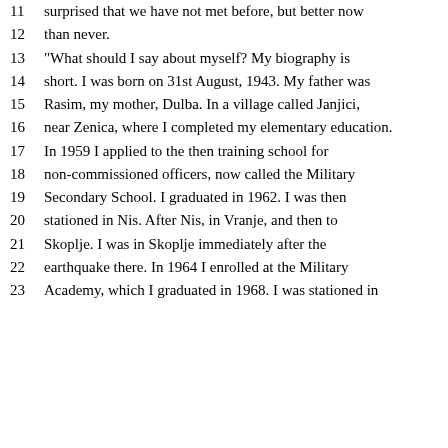11 surprised that we have not met before, but better now
12 than never.
13 "What should I say about myself? My biography is
14 short. I was born on 31st August, 1943. My father was
15 Rasim, my mother, Dulba. In a village called Janjici,
16 near Zenica, where I completed my elementary education.
17 In 1959 I applied to the then training school for
18 non-commissioned officers, now called the Military
19 Secondary School. I graduated in 1962. I was then
20 stationed in Nis. After Nis, in Vranje, and then to
21 Skoplje. I was in Skoplje immediately after the
22 earthquake there. In 1964 I enrolled at the Military
23 Academy, which I graduated in 1968. I was stationed in